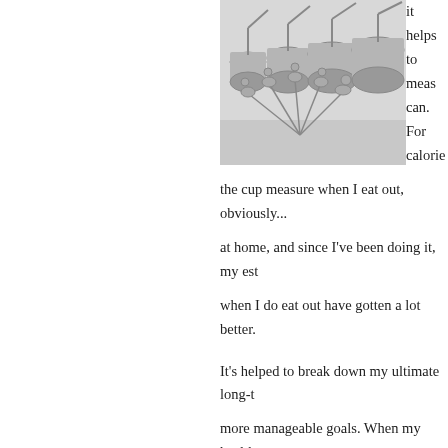[Figure (photo): Stainless steel measuring cups and measuring spoons set on a light surface]
it helps to meas can. For calorie essential. My in constituted a cu butter were way the cup measure when I eat out, obviously... at home, and since I've been doing it, my est when I do eat out have gotten a lot better.
It's helped to break down my ultimate long-t more manageable goals. When my health ca should lose 60 pounds to be at my maximum gave up in despair right then. Instead, I deci was simply going to lose 20 pounds... and th how hard it was, and whether I wanted to co now shooting for another 20 pounds... and w again re-evaluate and decide whether or not how far.